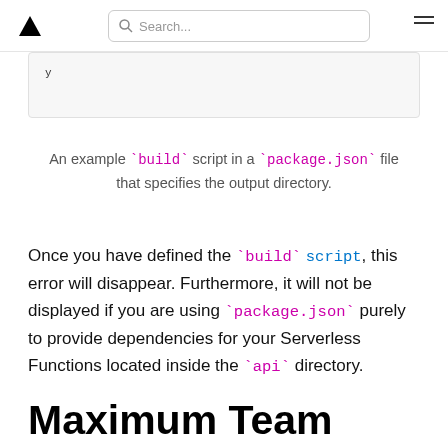▲ Search...
y
An example `build` script in a `package.json` file that specifies the output directory.
Once you have defined the `build` script, this error will disappear. Furthermore, it will not be displayed if you are using `package.json` purely to provide dependencies for your Serverless Functions located inside the `api` directory.
Maximum Team